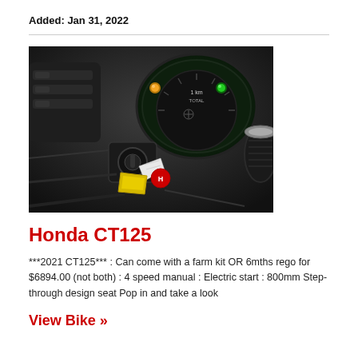Added: Jan 31, 2022
[Figure (photo): Close-up photo of a Honda CT125 motorcycle dashboard and ignition area, showing instrument cluster with amber and green indicator lights, and a yellow item near the ignition key]
Honda CT125
***2021 CT125*** : Can come with a farm kit OR 6mths rego for $6894.00 (not both) : 4 speed manual : Electric start : 800mm Step-through design seat Pop in and take a look
View Bike »